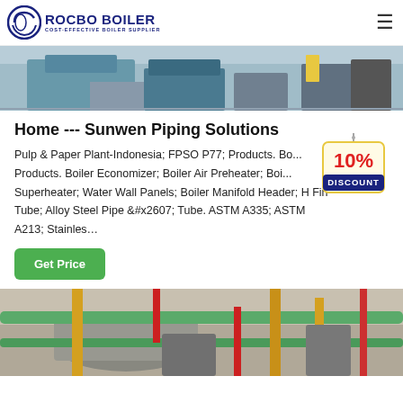ROCBO BOILER — COST-EFFECTIVE BOILER SUPPLIER
[Figure (photo): Top banner photo showing industrial boiler/HVAC equipment with blue machinery and metal components in a facility]
Home --- Sunwen Piping Solutions
Pulp & Paper Plant-Indonesia; FPSO P77; Products. Bo... Products. Boiler Economizer; Boiler Air Preheater; Boi... Superheater; Water Wall Panels; Boiler Manifold Header; H Fin Tube; Alloy Steel Pipe & Tube. ASTM A335; ASTM A213; Stainles…
[Figure (infographic): 10% DISCOUNT badge/sticker graphic in red and yellow with hanging string]
Get Price
[Figure (photo): Bottom banner photo showing colorful industrial piping system with green, yellow, and red pipes in a boiler room]